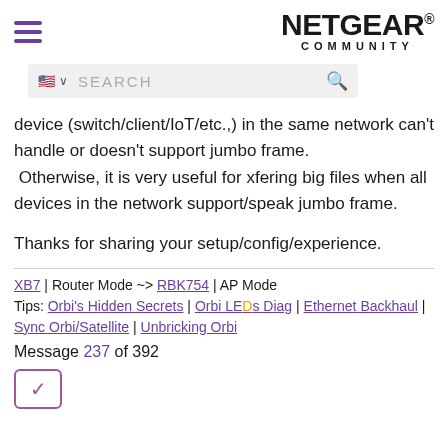NETGEAR COMMUNITY
device (switch/client/IoT/etc.,) in the same network can't handle or doesn't support jumbo frame. Otherwise, it is very useful for xfering big files when all devices in the network support/speak jumbo frame.
Thanks for sharing your setup/config/experience.
XB7 | Router Mode ~> RBK754 | AP Mode
Tips: Orbi's Hidden Secrets | Orbi LEDs Diag | Ethernet Backhaul | Sync Orbi/Satellite | Unbricking Orbi
Message 237 of 392